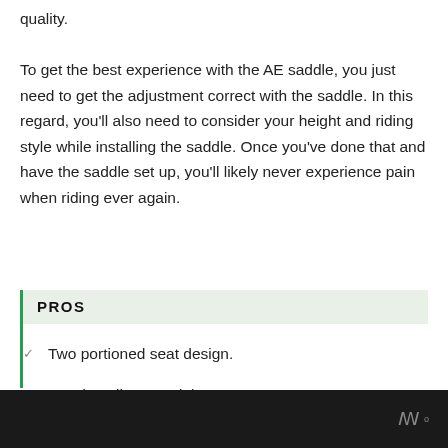quality.
To get the best experience with the AE saddle, you just need to get the adjustment correct with the saddle. In this regard, you'll also need to consider your height and riding style while installing the saddle. Once you've done that and have the saddle set up, you'll likely never experience pain when riding ever again.
PROS
Two portioned seat design.
Good quality materials.
Minimal contact with the prostate.
w°